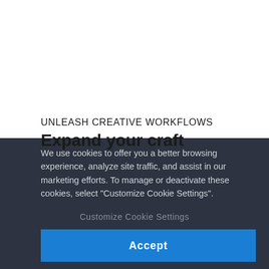UNLEASH CREATIVE WORKFLOWS
Expand your craft
We use cookies to offer you a better browsing experience, analyze site traffic, and assist in our marketing efforts. To manage or deactivate these cookies, select "Customize Cookie Settings".
Customize Cookie Settings
Accept